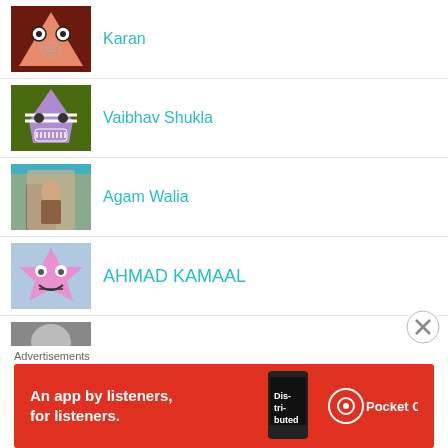Karan
Vaibhav Shukla
Agam Walia
AHMAD KAMAAL
[Figure (illustration): Partial avatar image at bottom]
Advertisements
[Figure (infographic): Pocket Casts advertisement banner: An app by listeners, for listeners.]